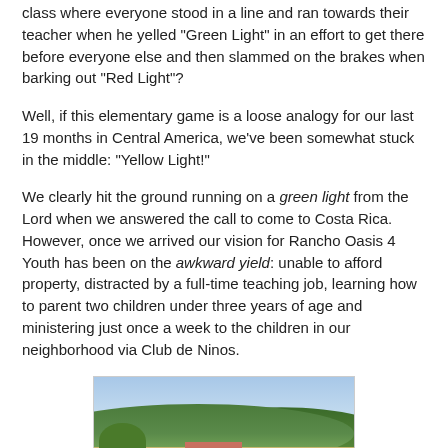class where everyone stood in a line and ran towards their teacher when he yelled "Green Light" in an effort to get there before everyone else and then slammed on the brakes when barking out "Red Light"?
Well, if this elementary game is a loose analogy for our last 19 months in Central America, we've been somewhat stuck in the middle: "Yellow Light!"
We clearly hit the ground running on a green light from the Lord when we answered the call to come to Costa Rica. However, once we arrived our vision for Rancho Oasis 4 Youth has been on the awkward yield: unable to afford property, distracted by a full-time teaching job, learning how to parent two children under three years of age and ministering just once a week to the children in our neighborhood via Club de Ninos.
[Figure (photo): A landscape photo showing a rural hillside scene in Costa Rica with green hills in the background, a small red/pink building in the middle ground, some trees, parked cars, and dry grassland in the foreground under a blue sky.]